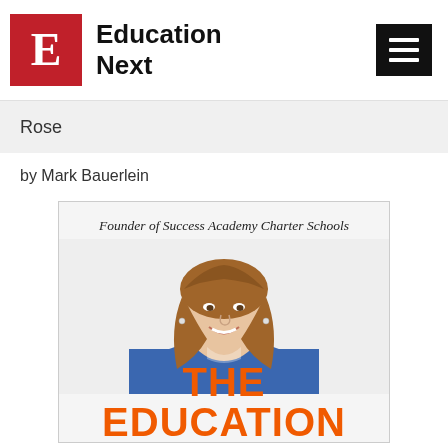Education Next
Rose
by Mark Bauerlein
[Figure (photo): Book cover for 'The Education' by founder of Success Academy Charter Schools. Shows a smiling woman with shoulder-length brown hair wearing a blue blazer, with italic text 'Founder of Success Academy Charter Schools' at top and large orange text 'THE EDUCATION' at bottom.]